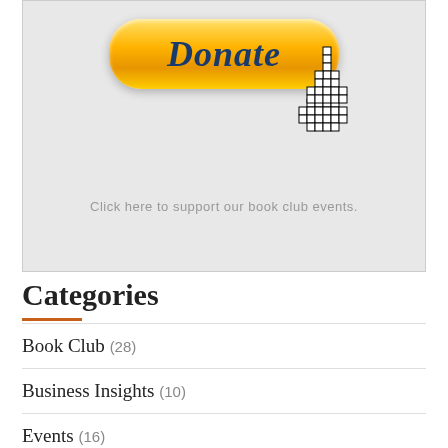[Figure (illustration): A yellow/gold PayPal-style Donate button with a pixelated hand cursor pointing at it, on a light gray background. Below the button is text: 'Click here to support our book club events.']
Click here to support our book club events.
Categories
Book Club (28)
Business Insights (10)
Events (16)
Inspirational (10)